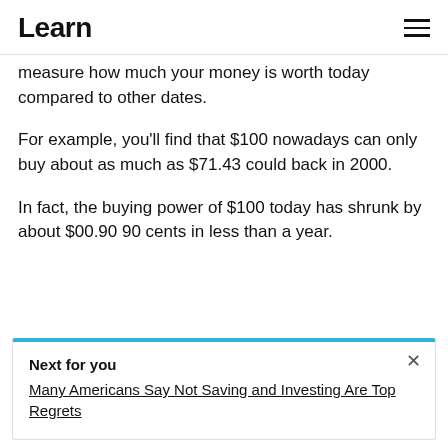Learn
measure how much your money is worth today compared to other dates.
For example, you'll find that $100 nowadays can only buy about as much as $71.43 could back in 2000.
In fact, the buying power of $100 today has shrunk by about $00.90 90 cents in less than a year.
Next for you
Many Americans Say Not Saving and Investing Are Top Regrets